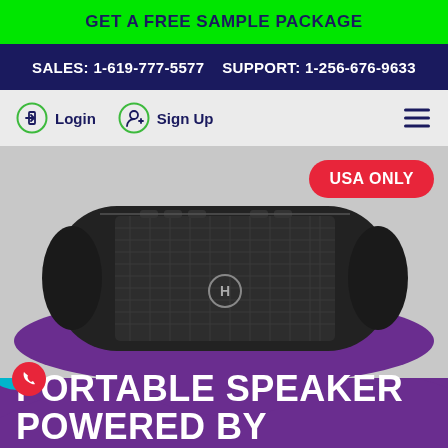GET A FREE SAMPLE PACKAGE
SALES: 1-619-777-5577   SUPPORT: 1-256-676-9633
Login   Sign Up
[Figure (photo): A black portable Bluetooth speaker with fabric mesh front on a purple and white background with USA ONLY badge and text PORTABLE SPEAKER POWERED BY at the bottom]
PORTABLE SPEAKER POWERED BY